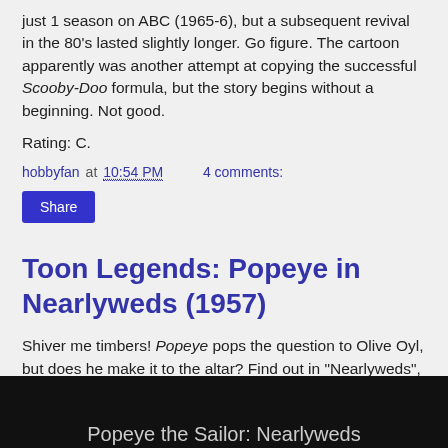just 1 season on ABC (1965-6), but a subsequent revival in the 80's lasted slightly longer. Go figure. The cartoon apparently was another attempt at copying the successful Scooby-Doo formula, but the story begins without a beginning. Not good.
Rating: C.
hobbyfan at 10:54 PM   4 comments:
Share
Toon Legends: Popeye in Nearlyweds (1957)
Shiver me timbers! Popeye pops the question to Olive Oyl, but does he make it to the altar? Find out in "Nearlyweds", courtesy of Internet Archive:
[Figure (screenshot): Black video thumbnail at bottom of page, partially visible, showing text in gray on black background]